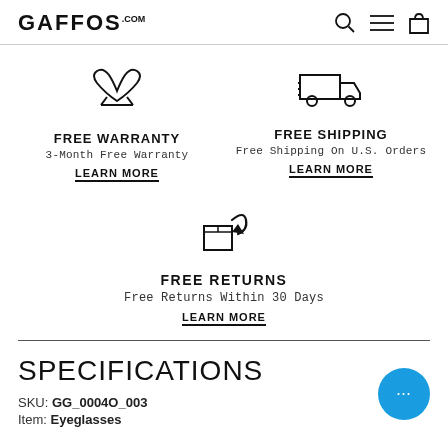GAFFOS
[Figure (illustration): Free Warranty icon - stylized bow/wings shape]
FREE WARRANTY
3-Month Free Warranty
LEARN MORE
[Figure (illustration): Free Shipping icon - delivery truck with speed lines]
FREE SHIPPING
Free Shipping On U.S. Orders
LEARN MORE
[Figure (illustration): Free Returns icon - box with curved arrow indicating return]
FREE RETURNS
Free Returns Within 30 Days
LEARN MORE
SPECIFICATIONS
SKU: GG_0004O_003
Item: Eyeglasses